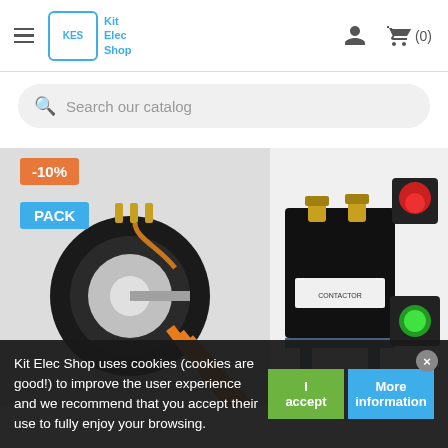Kit Elec Shop — navigation header with hamburger menu, logo, user icon, and cart (0)
Search our catalog
[Figure (photo): Product photo showing an electric motor kit with orange cables on the left, a black contactor/solenoid relay in the center, and two push-button switches (red mushroom stop button and green pilot light button) on the right. An orange '-10%' badge and a cyan 'PACK' badge are overlaid on the image.]
Kit Elec Shop uses cookies (cookies are good!) to improve the user experience and we recommend that you accept their use to fully enjoy your browsing.
I accept
More information